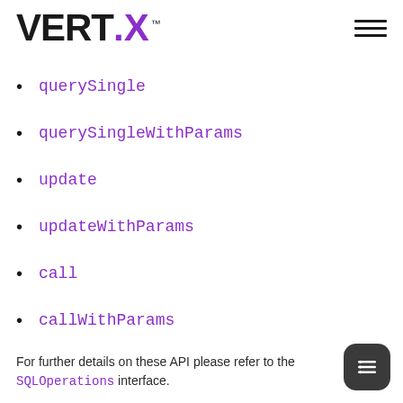VERT.X™
querySingle
querySingleWithParams
update
updateWithParams
call
callWithParams
For further details on these API please refer to the SQLOperations interface.